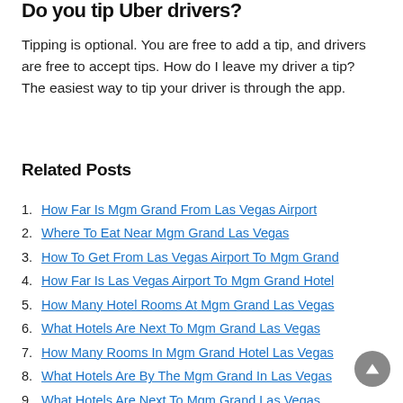Do you tip Uber drivers?
Tipping is optional. You are free to add a tip, and drivers are free to accept tips. How do I leave my driver a tip? The easiest way to tip your driver is through the app.
Related Posts
How Far Is Mgm Grand From Las Vegas Airport
Where To Eat Near Mgm Grand Las Vegas
How To Get From Las Vegas Airport To Mgm Grand
How Far Is Las Vegas Airport To Mgm Grand Hotel
How Many Hotel Rooms At Mgm Grand Las Vegas
What Hotels Are Next To Mgm Grand Las Vegas
How Many Rooms In Mgm Grand Hotel Las Vegas
What Hotels Are By The Mgm Grand In Las Vegas
What Hotels Are Next To Mgm Grand Las Vegas